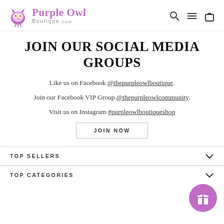[Figure (logo): Purple Owl Boutique logo with purple owl icon and stylized text]
[Figure (illustration): Navigation icons: search magnifier, hamburger menu, shopping bag]
JOIN OUR SOCIAL MEDIA GROUPS
Like us on Facebook @thepurpleowlboutique.
Join our Facebook VIP Group @thepurpleowlcommunity.
Visit us on Instagram #purpleowlboutiqueshop
JOIN NOW
TOP SELLERS
TOP CATEGORIES